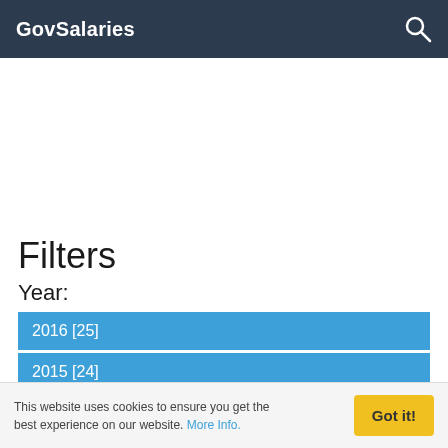GovSalaries
Filters
Year:
2016 [25]
2015 [24]
This website uses cookies to ensure you get the best experience on our website. More Info.